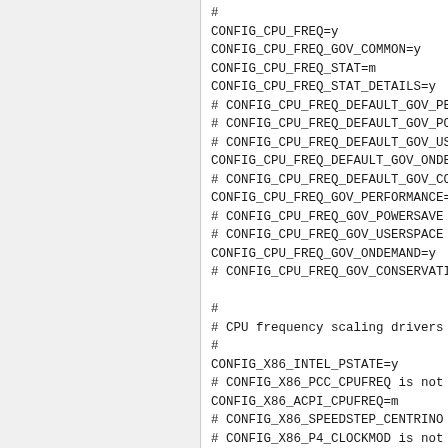#
CONFIG_CPU_FREQ=y
CONFIG_CPU_FREQ_GOV_COMMON=y
CONFIG_CPU_FREQ_STAT=m
CONFIG_CPU_FREQ_STAT_DETAILS=y
# CONFIG_CPU_FREQ_DEFAULT_GOV_PE
# CONFIG_CPU_FREQ_DEFAULT_GOV_PO
# CONFIG_CPU_FREQ_DEFAULT_GOV_US
CONFIG_CPU_FREQ_DEFAULT_GOV_ONDE
# CONFIG_CPU_FREQ_DEFAULT_GOV_CO
CONFIG_CPU_FREQ_GOV_PERFORMANCE=
# CONFIG_CPU_FREQ_GOV_POWERSAVE
# CONFIG_CPU_FREQ_GOV_USERSPACE
CONFIG_CPU_FREQ_GOV_ONDEMAND=y
# CONFIG_CPU_FREQ_GOV_CONSERVATI

#
# CPU frequency scaling drivers
#
CONFIG_X86_INTEL_PSTATE=y
# CONFIG_X86_PCC_CPUFREQ is not
CONFIG_X86_ACPI_CPUFREQ=m
# CONFIG_X86_SPEEDSTEP_CENTRINO
# CONFIG_X86_P4_CLOCKMOD is not

#
# shared options
#
# CONFIG_X86_SPEEDSTEP_LIB is no

#
# CPU Idle